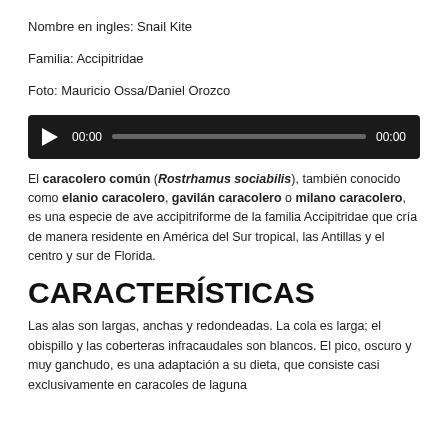Nombre en ingles: Snail Kite
Familia: Accipitridae
Foto: Mauricio Ossa/Daniel Orozco
[Figure (other): Audio player control bar with play button, time counter 00:00, progress bar, and end time 00:00 on a dark background]
El caracolero común (Rostrhamus sociabilis), también conocido como elanio caracolero, gavilán caracolero o milano caracolero, es una especie de ave accipitriforme de la familia Accipitridae que cría de manera residente en América del Sur tropical, las Antillas y el centro y sur de Florida.
CARACTERÍSTICAS
Las alas son largas, anchas y redondeadas. La cola es larga; el obispillo y las coberteras infracaudales son blancos. El pico, oscuro y muy ganchudo, es una adaptación a su dieta, que consiste casi exclusivamente en caracoles de laguna